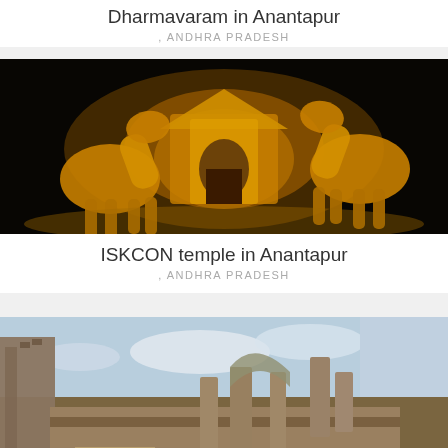Dharmavaram in Anantapur
, ANDHRA PRADESH
[Figure (photo): ISKCON temple in Anantapur at night with golden illuminated horse statues on either side and ornate temple architecture in the background]
ISKCON temple in Anantapur
, ANDHRA PRADESH
[Figure (photo): Ancient stone temple ruins in Anantapur showing carved architectural details, steps, and partially ruined structures under a cloudy sky]